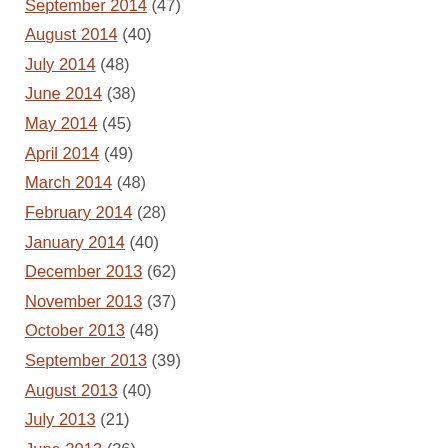September 2014 (47)
August 2014 (40)
July 2014 (48)
June 2014 (38)
May 2014 (45)
April 2014 (49)
March 2014 (48)
February 2014 (28)
January 2014 (40)
December 2013 (62)
November 2013 (37)
October 2013 (48)
September 2013 (39)
August 2013 (40)
July 2013 (21)
June 2013 (36)
May 2013 (31)
April 2013 (36)
March 2013 (52)